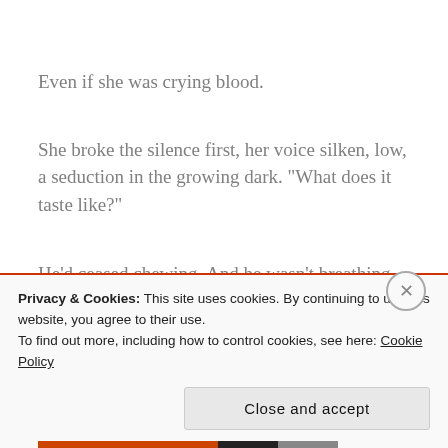Even if she was crying blood.
She broke the silence first, her voice silken, low, a seduction in the growing dark. "What does it taste like?"
He'd ceased chewing. And he wasn't breathing again.
Privacy & Cookies: This site uses cookies. By continuing to use this website, you agree to their use.
To find out more, including how to control cookies, see here: Cookie Policy
Close and accept